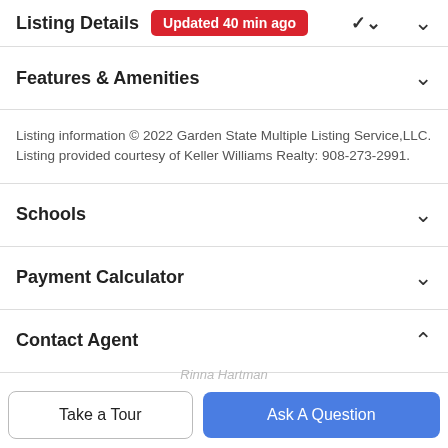Listing Details Updated 40 min ago
Features & Amenities
Listing information © 2022 Garden State Multiple Listing Service,LLC. Listing provided courtesy of Keller Williams Realty: 908-273-2991.
Schools
Payment Calculator
Contact Agent
[Figure (photo): Agent profile photo (partial, circular crop, warm brown hair)]
Take a Tour  |  Ask A Question